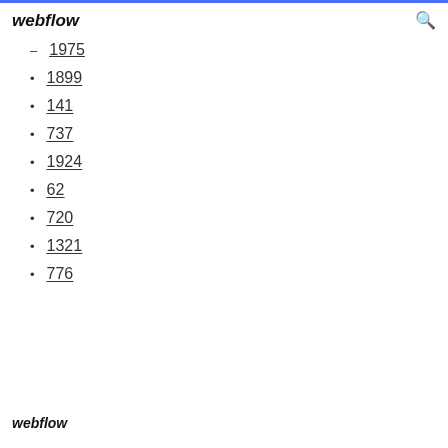webflow
1975
1899
141
737
1924
62
720
1321
776
webflow